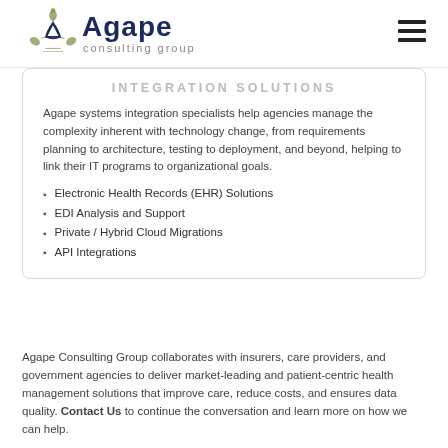Agape consulting group
INTEGRATION SOLUTIONS
Agape systems integration specialists help agencies manage the complexity inherent with technology change, from requirements planning to architecture, testing to deployment, and beyond, helping to link their IT programs to organizational goals.
Electronic Health Records (EHR) Solutions
EDI Analysis and Support
Private / Hybrid Cloud Migrations
API Integrations
Agape Consulting Group collaborates with insurers, care providers, and government agencies to deliver market-leading and patient-centric health management solutions that improve care, reduce costs, and ensures data quality. Contact Us to continue the conversation and learn more on how we can help.